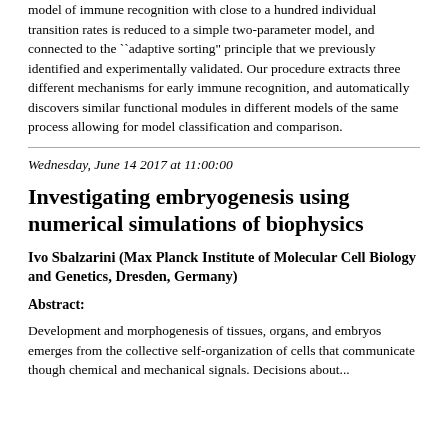model of immune recognition with close to a hundred individual transition rates is reduced to a simple two-parameter model, and connected to the ``adaptive sorting" principle that we previously identified and experimentally validated. Our procedure extracts three different mechanisms for early immune recognition, and automatically discovers similar functional modules in different models of the same process allowing for model classification and comparison.
Wednesday, June 14 2017 at 11:00:00
Investigating embryogenesis using numerical simulations of biophysics
Ivo Sbalzarini (Max Planck Institute of Molecular Cell Biology and Genetics, Dresden, Germany)
Abstract:
Development and morphogenesis of tissues, organs, and embryos emerges from the collective self-organization of cells that communicate though chemical and mechanical signals. Decisions about...